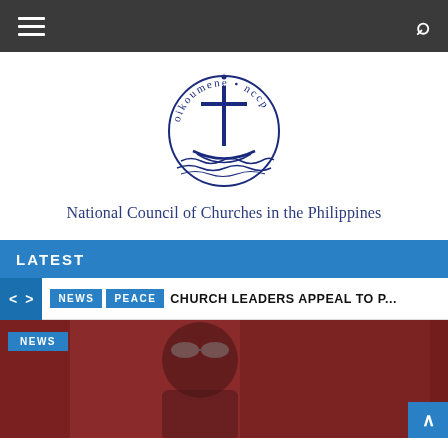Navigation bar with hamburger menu and search icon
[Figure (logo): NCCP oikoumene logo — a cross on a boat over waves inside a circular text reading 'oikoumene • nccp', in dark blue/navy]
National Council of Churches in the Philippines
LATEST
NEWS  PEACE  CHURCH LEADERS APPEAL TO P...
[Figure (photo): Photo of a person wearing goggles on their head, reddish/dark background, with a NEWS badge overlay in the top-left corner]